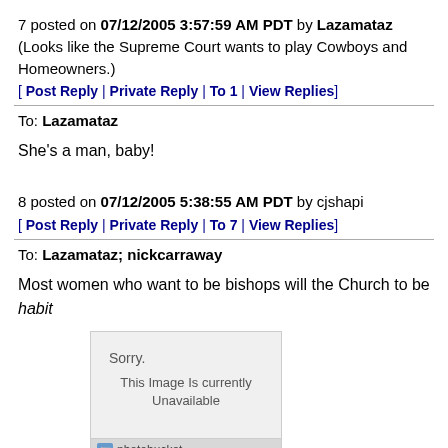7 posted on 07/12/2005 3:57:59 AM PDT by Lazamataz (Looks like the Supreme Court wants to play Cowboys and Homeowners.)
[ Post Reply | Private Reply | To 1 | View Replies]
To: Lazamataz
She's a man, baby!
8 posted on 07/12/2005 5:38:55 AM PDT by cjshapi
[ Post Reply | Private Reply | To 7 | View Replies]
To: Lazamataz; nickcarraway
Most women who want to be bishops will the Church to be habit
[Figure (other): Image placeholder showing 'Sorry. This Image Is currently Unavailable' with photobucket logo bar at bottom]